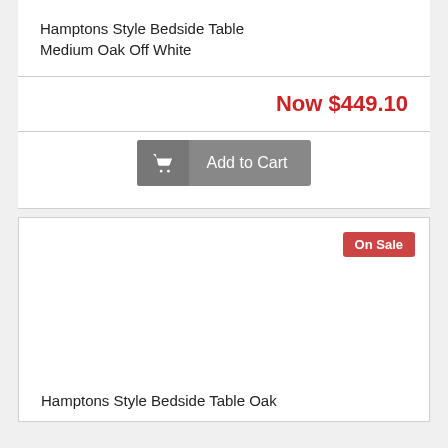Hamptons Style Bedside Table Medium Oak Off White
Now $449.10
Add to Cart
[Figure (screenshot): White product image area for second product card]
On Sale
Hamptons Style Bedside Table Oak Off White